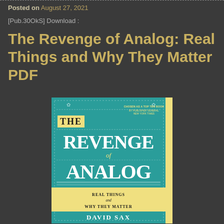Posted on August 27, 2021
[Pub.30OkS] Download :
The Revenge of Analog: Real Things and Why They Matter PDF
[Figure (photo): Book cover of 'The Revenge of Analog: Real Things and Why They Matter' by David Sax. Teal/turquoise cover with white bold text, yellow banner at bottom, small yellow spine strip on right. Includes 'Chosen as a Top Ten Book by Publisher General New York Times' badge.]